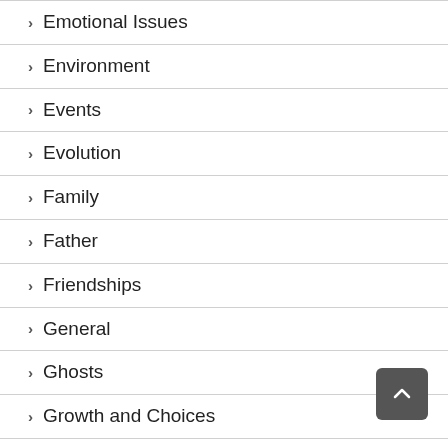> Emotional Issues
> Environment
> Events
> Evolution
> Family
> Father
> Friendships
> General
> Ghosts
> Growth and Choices